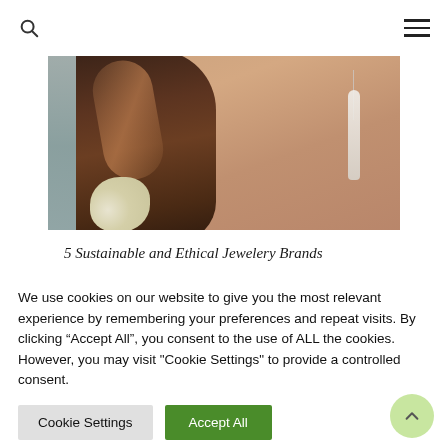Search | Menu
[Figure (photo): Woman with braided dark hair, flower accessory, wearing a silver leaf-shaped pendant necklace, blue fabric visible on left side of frame]
5 Sustainable and Ethical Jewelery Brands
We use cookies on our website to give you the most relevant experience by remembering your preferences and repeat visits. By clicking “Accept All”, you consent to the use of ALL the cookies. However, you may visit "Cookie Settings" to provide a controlled consent.
Cookie Settings | Accept All